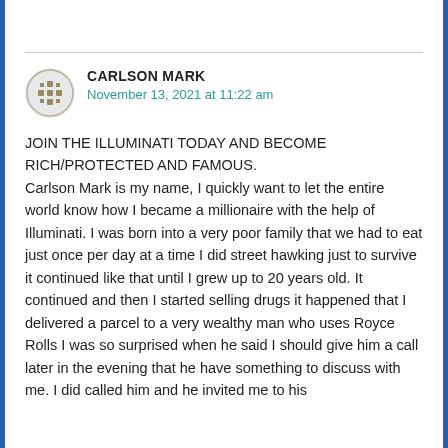CARLSON MARK
November 13, 2021 at 11:22 am
JOIN THE ILLUMINATI TODAY AND BECOME RICH/PROTECTED AND FAMOUS. Carlson Mark is my name, I quickly want to let the entire world know how I became a millionaire with the help of Illuminati. I was born into a very poor family that we had to eat just once per day at a time I did street hawking just to survive it continued like that until I grew up to 20 years old. It continued and then I started selling drugs it happened that I delivered a parcel to a very wealthy man who uses Royce Rolls I was so surprised when he said I should give him a call later in the evening that he have something to discuss with me. I did called him and he invited me to his